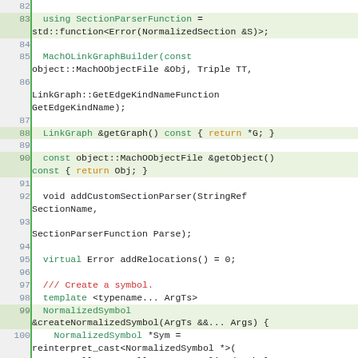[Figure (screenshot): C++ source code editor screenshot showing lines 82-104 of a MachO link graph builder implementation. Lines show class method definitions including SectionParserFunction typedef, constructor, getGraph, getObject, addCustomSectionParser, addRelocations, and createNormalizedSymbol template method.]